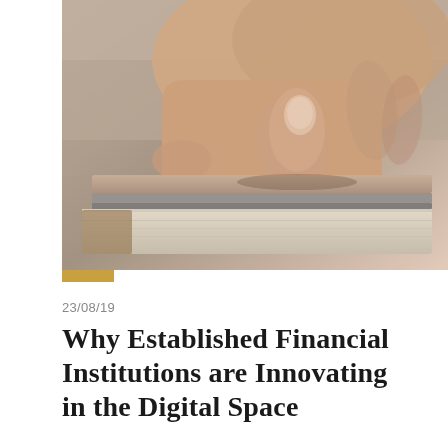[Figure (photo): Close-up photo of a hand with fingers pressing down on a thin tablet or laptop device, with the device resting on a book or notebook. The image has warm, neutral tones with shallow depth of field.]
23/08/19
Why Established Financial Institutions are Innovating in the Digital Space